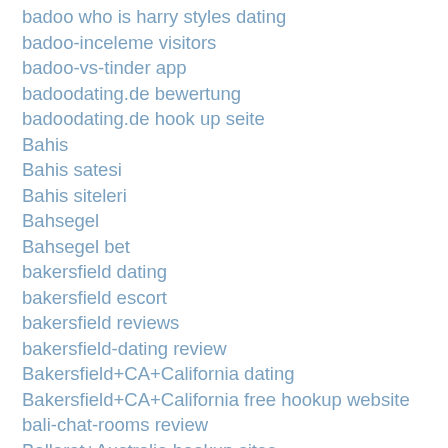badoo who is harry styles dating
badoo-inceleme visitors
badoo-vs-tinder app
badoodating.de bewertung
badoodating.de hook up seite
Bahis
Bahis satesi
Bahis siteleri
Bahsegel
Bahsegel bet
bakersfield dating
bakersfield escort
bakersfield reviews
bakersfield-dating review
Bakersfield+CA+California dating
Bakersfield+CA+California free hookup website
bali-chat-rooms review
Ballarat+Australia hookup sites